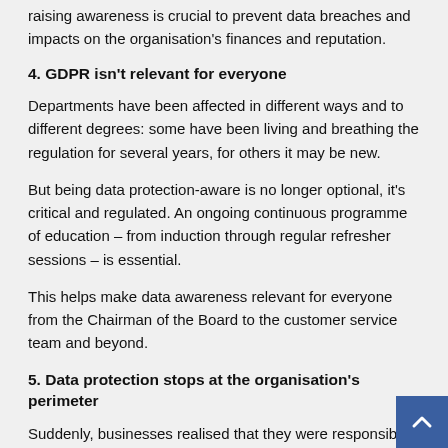Raising awareness is crucial to prevent data breaches and impacts on the organisation's finances and reputation.
4. GDPR isn't relevant for everyone
Departments have been affected in different ways and to different degrees: some have been living and breathing the regulation for several years, for others it may be new.
But being data protection-aware is no longer optional, it's critical and regulated. An ongoing continuous programme of education – from induction through regular refresher sessions – is essential.
This helps make data awareness relevant for everyone from the Chairman of the Board to the customer service team and beyond.
5. Data protection stops at the organisation's perimeter
Suddenly, businesses realised that they were responsible not just for their own data protection compliance, but that of all the links in their supply chain.